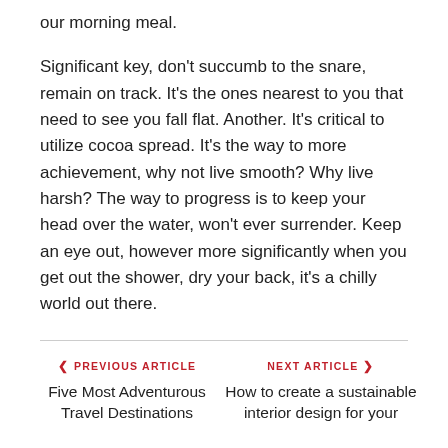our morning meal.
Significant key, don't succumb to the snare, remain on track. It's the ones nearest to you that need to see you fall flat. Another. It's critical to utilize cocoa spread. It's the way to more achievement, why not live smooth? Why live harsh? The way to progress is to keep your head over the water, won't ever surrender. Keep an eye out, however more significantly when you get out the shower, dry your back, it's a chilly world out there.
PREVIOUS ARTICLE — Five Most Adventurous Travel Destinations
NEXT ARTICLE — How to create a sustainable interior design for your